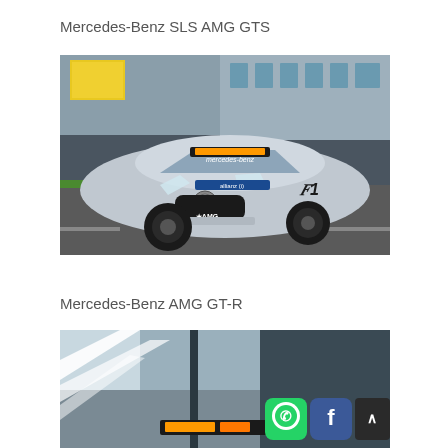Mercedes-Benz SLS AMG GTS
[Figure (photo): Mercedes-Benz AMG GT safety car with orange roof lights and F1 branding, parked on a racetrack pit lane, silver color, front three-quarter view]
Mercedes-Benz AMG GT-R
[Figure (photo): Partial view of a Mercedes-Benz AMG GT-R safety car, showing front end with orange warning lights on roof, partially visible at bottom of page, with social media icons (WhatsApp, Facebook) and a scroll-up button overlaid]